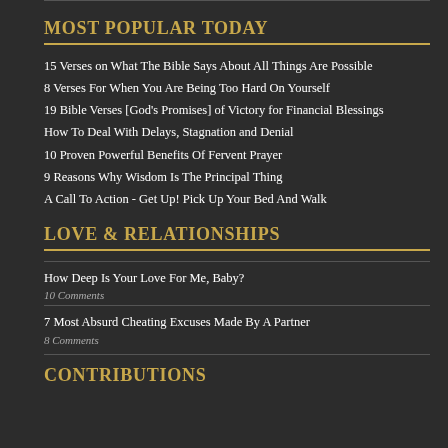MOST POPULAR TODAY
15 Verses on What The Bible Says About All Things Are Possible
8 Verses For When You Are Being Too Hard On Yourself
19 Bible Verses [God's Promises] of Victory for Financial Blessings
How To Deal With Delays, Stagnation and Denial
10 Proven Powerful Benefits Of Fervent Prayer
9 Reasons Why Wisdom Is The Principal Thing
A Call To Action - Get Up! Pick Up Your Bed And Walk
LOVE & RELATIONSHIPS
How Deep Is Your Love For Me, Baby?
10 Comments
7 Most Absurd Cheating Excuses Made By A Partner
8 Comments
CONTRIBUTIONS